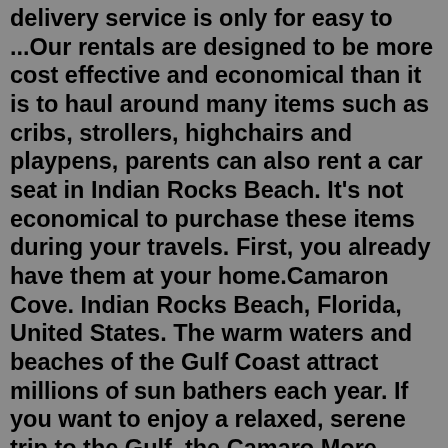delivery service is only for easy to ...Our rentals are designed to be more cost effective and economical than it is to haul around many items such as cribs, strollers, highchairs and playpens, parents can also rent a car seat in Indian Rocks Beach. It's not economical to purchase these items during your travels. First, you already have them at your home.Camaron Cove. Indian Rocks Beach, Florida, United States. The warm waters and beaches of the Gulf Coast attract millions of sun bathers each year. If you want to enjoy a relaxed, serene trip to the Gulf, the Camaro More... View Listing Resort Profile. Sale Price: N/A. Rent Price: $1,500 (OBO) Maint. Fee: $0.The Eastern side of Indian Rocks Beach features canals or frontage on the Intracoastal Waterway. Many waterfront condo's, townhouses, and single family homes East of Gulf Blvd. most with boat docking facilities. Indian Rocks Beach housing also includes many inland homes and complexes. Residents include young families, empty nesters, northern ... Welcome to the amazing and unique Four